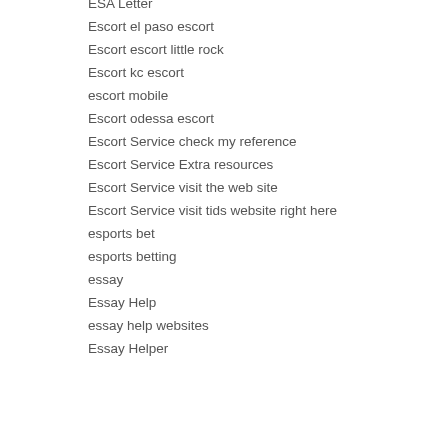ESA Letter
Escort el paso escort
Escort escort little rock
Escort kc escort
escort mobile
Escort odessa escort
Escort Service check my reference
Escort Service Extra resources
Escort Service visit the web site
Escort Service visit tids website right here
esports bet
esports betting
essay
Essay Help
essay help websites
Essay Helper